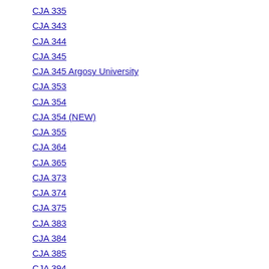CJA 335
CJA 343
CJA 344
CJA 345
CJA 345 Argosy University
CJA 353
CJA 354
CJA 354 (NEW)
CJA 355
CJA 364
CJA 365
CJA 373
CJA 374
CJA 375
CJA 383
CJA 384
CJA 385
CJA 394
CJA 415